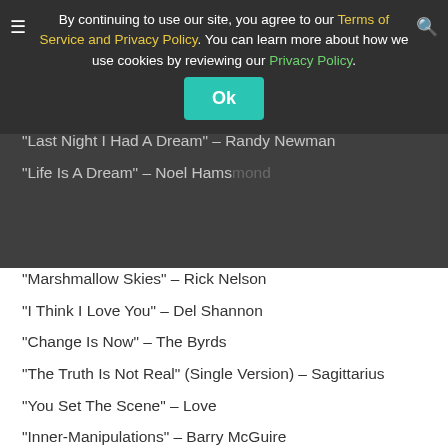By continuing to use our site, you agree to our Terms of Service and Privacy Policy. You can learn more about how we use cookies by reviewing our Privacy Policy. Ok
“Marshmallow Skies” – Rick Nelson
“I Think I Love You” – Del Shannon
“Change Is Now” – The Byrds
“The Truth Is Not Real” (Single Version) – Sagittarius
“You Set The Scene” – Love
“Inner-Manipulations” – Barry McGuire
*Previously unreleased
Advertising disclosure: We may receive compensation for some of the links in our stories. Thank you for supporting LA Weekly and our advertisers.
Share this:
Twitter Facebook LinkedIn Reddit More